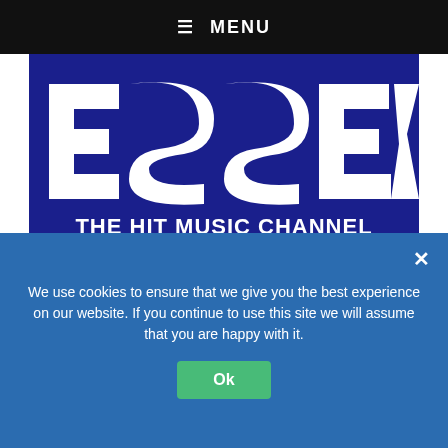≡ MENU
[Figure (logo): Essex FM logo — stylized 'ESSEX' text in white on dark blue background with 'THE HIT MUSIC CHANNEL' below]
[Figure (logo): ReRun Productions logo — large black text 'ReRun' with stylized R lettermark icon on white background]
We use cookies to ensure that we give you the best experience on our website. If you continue to use this site we will assume that you are happy with it.